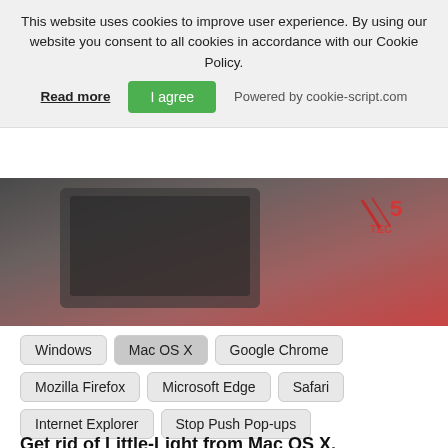This website uses cookies to improve user experience. By using our website you consent to all cookies in accordance with our Cookie Policy.
Read more | I agree | Powered by cookie-script.com
[Figure (photo): A dark hero/banner image showing a laptop or device, partially visible, with a reddish-pink gradient overlay and a logo/text in the top right corner.]
Windows
Mac OS X
Google Chrome
Mozilla Firefox
Microsoft Edge
Safari
Internet Explorer
Stop Push Pop-ups
Get rid of Little-Light from Mac OS X.
Step 1: Uninstall Little-Light and remove related files and objects